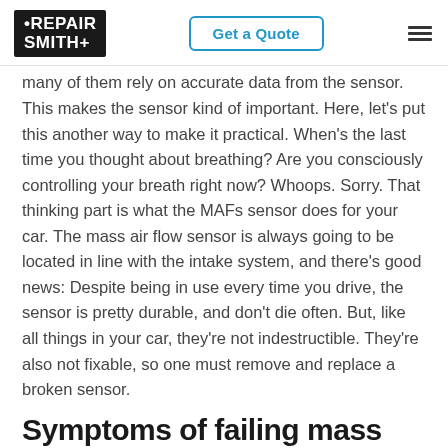RepairSmith | Get a Quote
many of them rely on accurate data from the sensor. This makes the sensor kind of important. Here, let's put this another way to make it practical. When's the last time you thought about breathing? Are you consciously controlling your breath right now? Whoops. Sorry. That thinking part is what the MAFs sensor does for your car. The mass air flow sensor is always going to be located in line with the intake system, and there's good news: Despite being in use every time you drive, the sensor is pretty durable, and don't die often. But, like all things in your car, they're not indestructible. They're also not fixable, so one must remove and replace a broken sensor.
Symptoms of failing mass air...